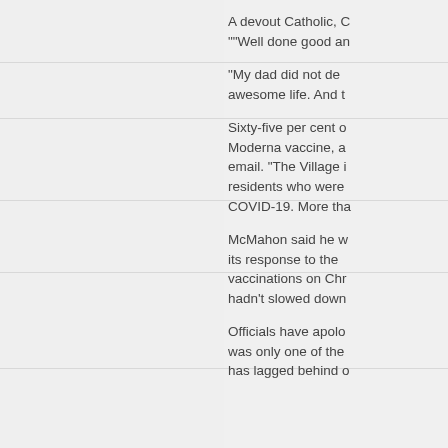A devout Catholic, C ""Well done good an
“My dad did not des awesome life. And t
Sixty-five per cent o Moderna vaccine, a email. “The Village i residents who were COVID-19. More tha
McMahon said he w its response to the vaccinations on Chr hadn’t slowed down
Officials have apolo was only one of the has lagged behind o